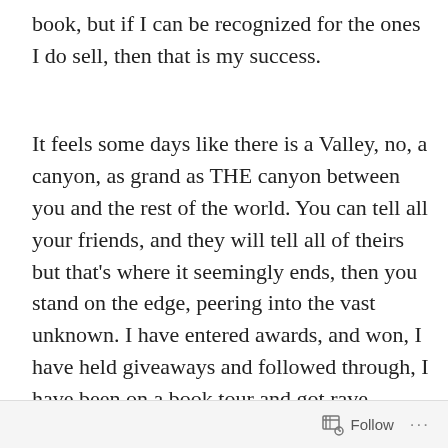book, but if I can be recognized for the ones I do sell, then that is my success.
It feels some days like there is a Valley, no, a canyon, as grand as THE canyon between you and the rest of the world. You can tell all your friends, and they will tell all of theirs but that's where it seemingly ends, then you stand on the edge, peering into the vast unknown. I have entered awards, and won, I have held giveaways and followed through, I have been on a book tour and got rave reviews, but no one is buying...yet, what is the next step? Is there a switch somewhere I haven't thrown, is there a phrase I must utter while standing on one foot facing
Follow ···